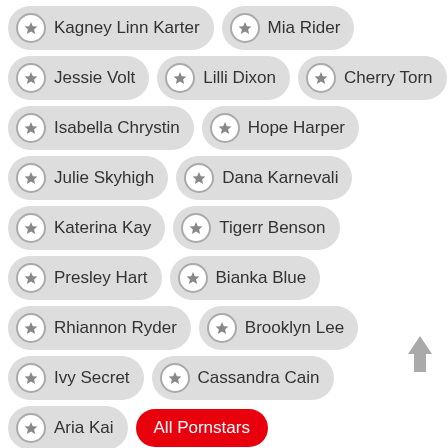Kagney Linn Karter
Mia Rider
Jessie Volt
Lilli Dixon
Cherry Torn
Isabella Chrystin
Hope Harper
Julie Skyhigh
Dana Karnevali
Katerina Kay
Tigerr Benson
Presley Hart
Bianka Blue
Rhiannon Ryder
Brooklyn Lee
Ivy Secret
Cassandra Cain
Aria Kai
All Pornstars